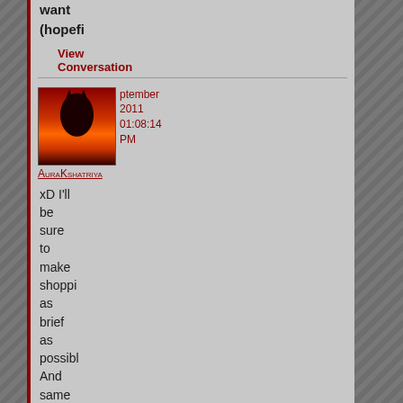want (hopef
View Conversation
September 2011 01:08:14 PM
AuraKshatriya
xD I'll be sure to make shoppi as brief as possibl And same @Can't wait
View Conversation
September 2011 01:05:10 PM